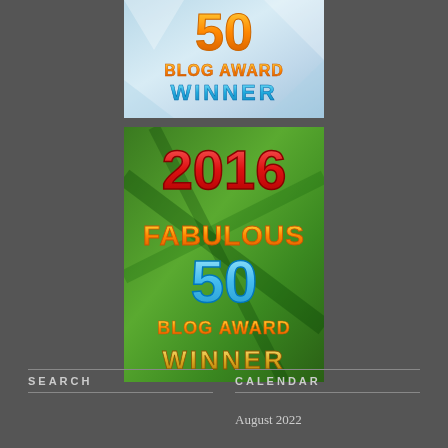[Figure (illustration): Blog Award Winner badge with '50 BLOG AWARD WINNER' text on icy/crystalline background with orange and blue lettering]
[Figure (illustration): 2016 Fabulous 50 Blog Award Winner badge on green leafy background with red, orange, blue and gold lettering]
SEARCH
CALENDAR
August 2022